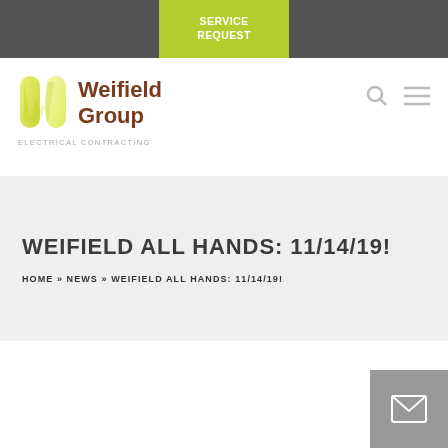SERVICE REQUEST
[Figure (logo): Weifield Group Electrical Contracting logo with yellow-green W icon and brown text]
WEIFIELD ALL HANDS: 11/14/19!
HOME » NEWS » WEIFIELD ALL HANDS: 11/14/19!